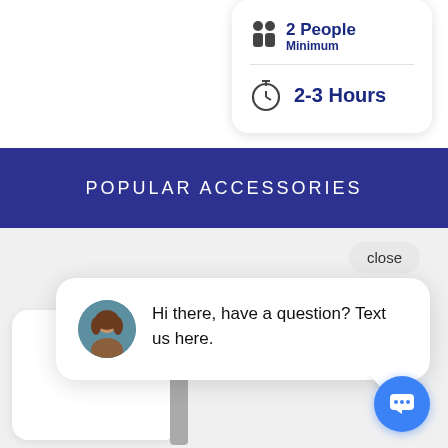[Figure (infographic): Card showing 2 People Minimum and 2-3 Hours with icons]
POPULAR ACCESSORIES
[Figure (screenshot): Chat widget popup with avatar, close button, and message: Hi there, have a question? Text us here. Blue chat button at bottom right.]